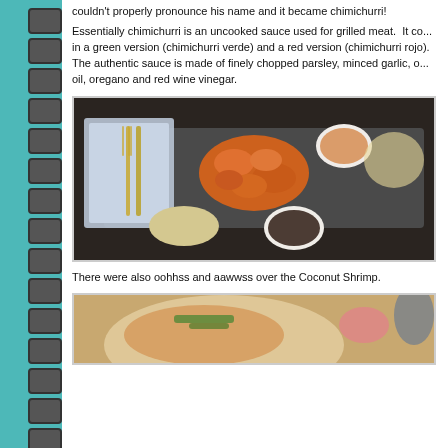couldn't properly pronounce his name and it became chimichurri!
Essentially chimichurri is an uncooked sauce used for grilled meat. It comes in a green version (chimichurri verde) and a red version (chimichurri rojo). The authentic sauce is made of finely chopped parsley, minced garlic, oil, oregano and red wine vinegar.
[Figure (photo): A plate of fried coconut shrimp served on a dark slate board with dipping sauces, rice, and bean sprouts. A folded napkin with fork and knife on the left side.]
There were also oohhss and aawwss over the Coconut Shrimp.
[Figure (photo): Partial view of a food dish with noodles, vegetables, and garnishes on a plate.]